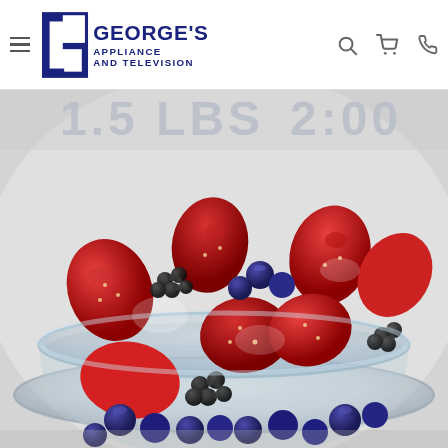George's Appliance and Television
[Figure (photo): A glass bowl filled with mixed frozen berries including strawberries, blueberries, and blackberries inside a microwave, with text showing '1.5 LBS' and '2:00' partially visible at the top]